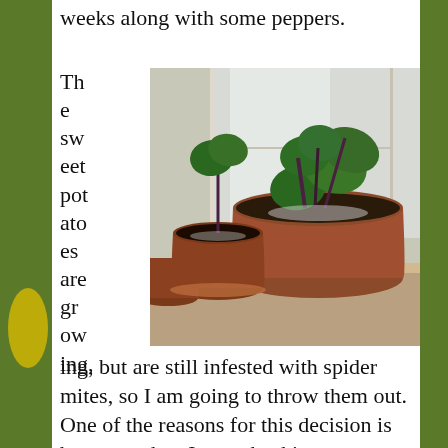weeks along with some peppers.
The sweet potatoes are growing, but are still infested with spider mites, so I am going to throw them out. One of the reasons for this decision is because when I was checking our stored
[Figure (photo): Photo of sweet potato plants growing in terracotta pots on a windowsill, with large green leaves emerging from dark soil.]